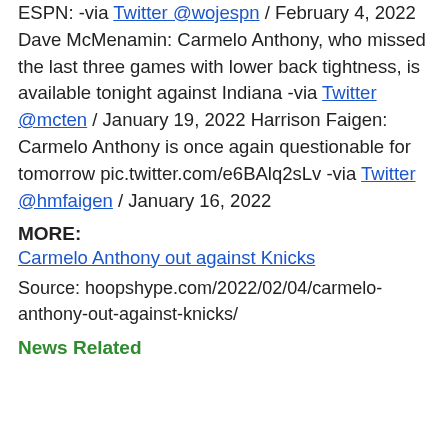ESPN: -via Twitter @wojespn / February 4, 2022 Dave McMenamin: Carmelo Anthony, who missed the last three games with lower back tightness, is available tonight against Indiana -via Twitter @mcten / January 19, 2022 Harrison Faigen: Carmelo Anthony is once again questionable for tomorrow pic.twitter.com/e6BAlq2sLv -via Twitter @hmfaigen / January 16, 2022
MORE:
Carmelo Anthony out against Knicks
Source: hoopshype.com/2022/02/04/carmelo-anthony-out-against-knicks/
News Related